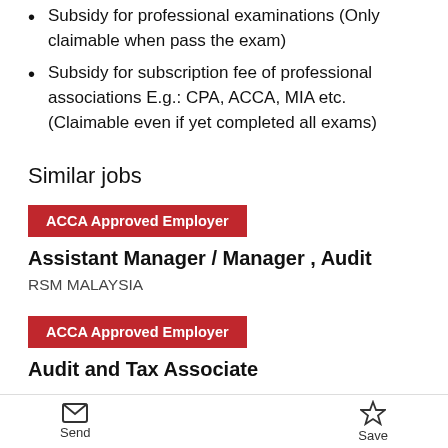Subsidy for professional examinations (Only claimable when pass the exam)
Subsidy for subscription fee of professional associations E.g.: CPA, ACCA, MIA etc. (Claimable even if yet completed all exams)
Similar jobs
ACCA Approved Employer
Assistant Manager / Manager , Audit
RSM MALAYSIA
ACCA Approved Employer
Audit and Tax Associate
Send   Save